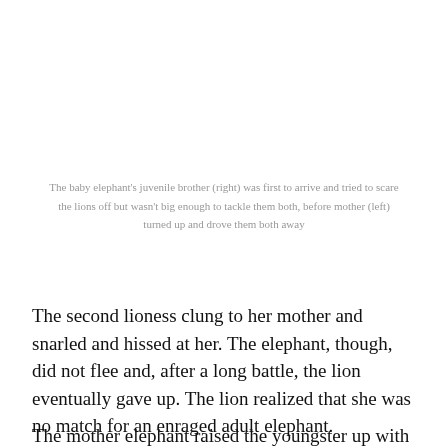The baby elephant's juvenile brother (right) was first to arrive and tried to scare the lions off but wasn't big enough to tackle them both, before mother (left) turned up and drove them both away
The second lioness clung to her mother and snarled and hissed at her. The elephant, though, did not flee and, after a long battle, the lion eventually gave up. The lion realized that she was no match for an enraged adult elephant.
The mother elephant raised the youngster up with her trunk once the lions had gone. She detected the baby and